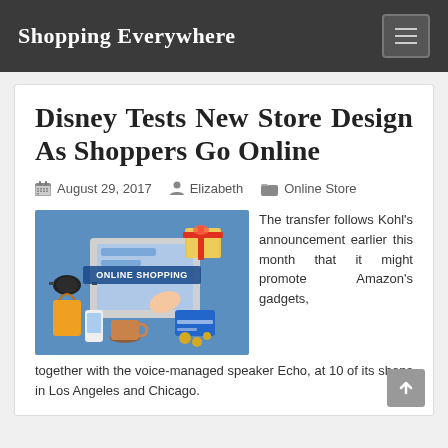Shopping Everywhere
Disney Tests New Store Design As Shoppers Go Online
August 29, 2017  Elizabeth  Online Store
[Figure (illustration): Online shopping illustration showing a hand using a laptop/tablet with shopping items including gift boxes, sunglasses, shopping bags, credit cards, and coffee around it. Text reads 'ONLINE SHOPPING'.]
The transfer follows Kohl's announcement earlier this month that it might promote Amazon's gadgets, together with the voice-managed speaker Echo, at 10 of its shops in Los Angeles and Chicago.